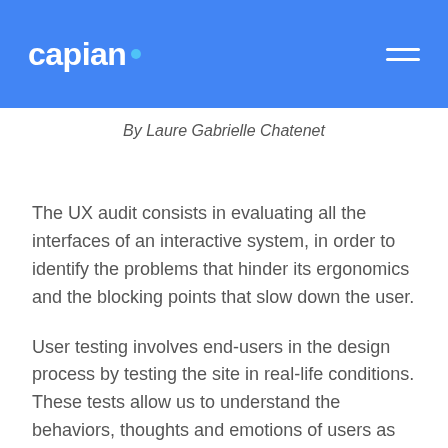capian
By Laure Gabrielle Chatenet
The UX audit consists in evaluating all the interfaces of an interactive system, in order to identify the problems that hinder its ergonomics and the blocking points that slow down the user.
User testing involves end-users in the design process by testing the site in real-life conditions. These tests allow us to understand the behaviors, thoughts and emotions of users as they interact with the system.
The union between the UX audit and the UX tests